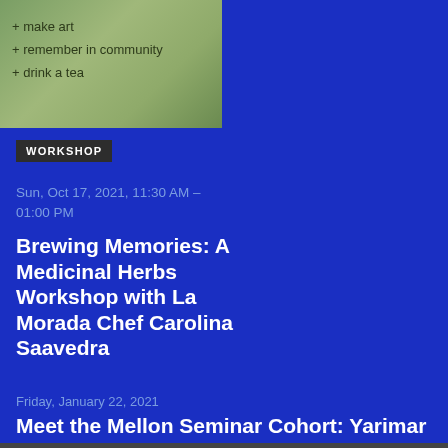[Figure (photo): Top-left image with text overlay listing workshop activities: + make art, + remember in community, + drink a tea]
+ make art
+ remember in community
+ drink a tea
WORKSHOP
Sun, Oct 17, 2021, 11:30 AM – 01:00 PM
Brewing Memories: A Medicinal Herbs Workshop with La Morada Chef Carolina Saavedra
Friday, January 22, 2021
Meet the Mellon Seminar Cohort: Yarimar Bonilla
Friday, January 15, 2021
Meet the Mellon Seminar Cohort: Chloë Bass